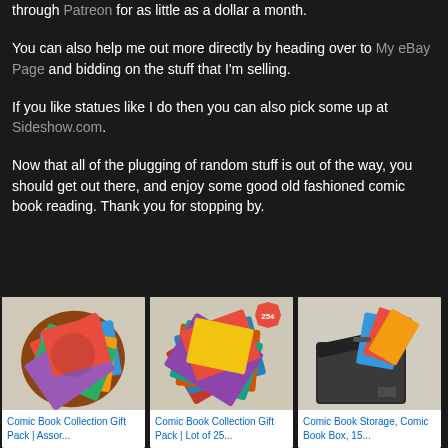through Patreon for as little as a dollar a month.
You can also help me out more directly by heading over to My eBay Page and bidding on the stuff that I'm selling.
If you like statues like I do then you can also pick some up at Sideshow.com.
Now that all of the plugging of random stuff is out of the way, you should get out there, and enjoy some good old fashioned comic book reading. Thank you for stopping by.
[Figure (photo): Comic Book Collection Gift Pack assorted comics pile]
Comic Book Collection Gift Pack | Assor...
[Figure (photo): Comic Book Collection Gift Pack lot of 25 comics with 25 cent badge]
Comic Book Collection Gift Pack | Lot of 25...
[Figure (photo): Comic Book Storage Box, black fabric storage box with comic books]
Comic Book Storage, Comic Book Box, 15...